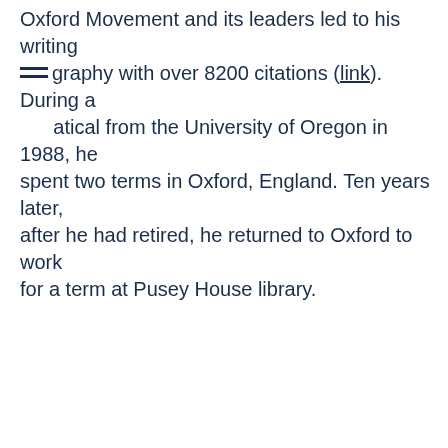Oxford Movement and its leaders led to his writing graphy with over 8200 citations (link). During a atical from the University of Oregon in 1988, he spent two terms in Oxford, England. Ten years later, after he had retired, he returned to Oxford to work for a term at Pusey House library.